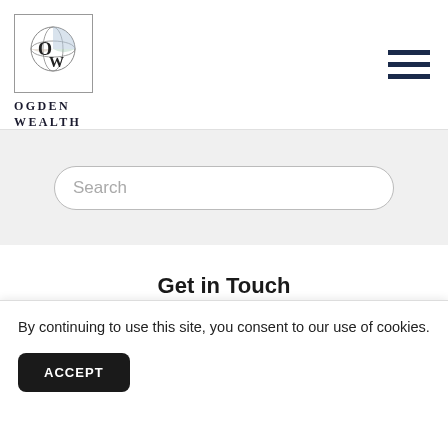[Figure (logo): Ogden Wealth logo — circular globe icon with 'OW' lettering inside a square border, with text 'OGDEN WEALTH' below]
Search
Get in Touch
In just 15 minutes we can get to know your
By continuing to use this site, you consent to our use of cookies.
ACCEPT